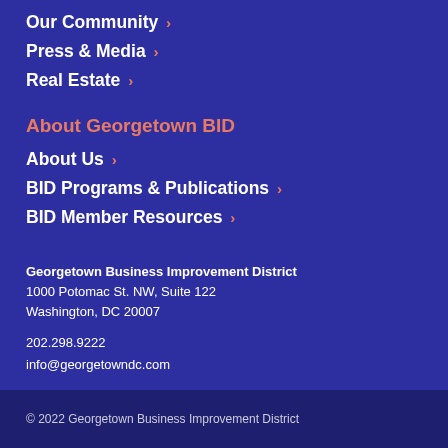Our Community ›
Press & Media ›
Real Estate ›
About Georgetown BID
About Us ›
BID Programs & Publications ›
BID Member Resources ›
Georgetown Business Improvement District
1000 Potomac St. NW, Suite 122
Washington, DC 20007
202.298.9222
info@georgetowndc.com
© 2022 Georgetown Business Improvement District